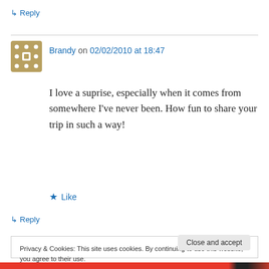↳ Reply
Brandy on 02/02/2010 at 18:47
I love a suprise, especially when it comes from somewhere I've never been. How fun to share your trip in such a way!
★ Like
↳ Reply
Privacy & Cookies: This site uses cookies. By continuing to use this website, you agree to their use.
To find out more, including how to control cookies, see here: Cookie Policy